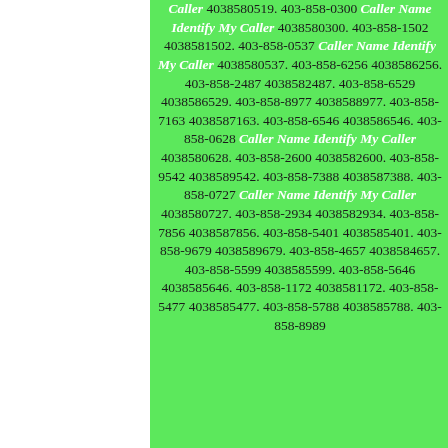Caller 4038580519. 403-858-0300 Caller Name Identify My Caller 4038580300. 403-858-1502 4038581502. 403-858-0537 Caller Name Identify My Caller 4038580537. 403-858-6256 4038586256. 403-858-2487 4038582487. 403-858-6529 4038586529. 403-858-8977 4038588977. 403-858-7163 4038587163. 403-858-6546 4038586546. 403-858-0628 Caller Name Identify My Caller 4038580628. 403-858-2600 4038582600. 403-858-9542 4038589542. 403-858-7388 4038587388. 403-858-0727 Caller Name Identify My Caller 4038580727. 403-858-2934 4038582934. 403-858-7856 4038587856. 403-858-5401 4038585401. 403-858-9679 4038589679. 403-858-4657 4038584657. 403-858-5599 4038585599. 403-858-5646 4038585646. 403-858-1172 4038581172. 403-858-5477 4038585477. 403-858-5788 4038585788. 403-858-8989 4038585989. 403-858-4555